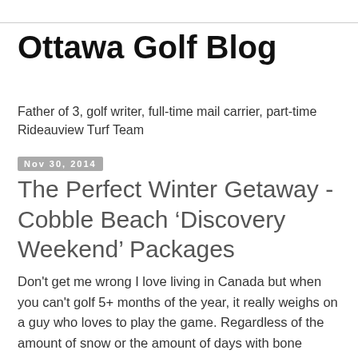Ottawa Golf Blog
Father of 3, golf writer, full-time mail carrier, part-time Rideauview Turf Team
Nov 30, 2014
The Perfect Winter Getaway - Cobble Beach ‘Discovery Weekend’ Packages
Don't get me wrong I love living in Canada but when you can't golf 5+ months of the year, it really weighs on a guy who loves to play the game. Regardless of the amount of snow or the amount of days with bone chilling windchill, the winter seems so damn long. Thanks to places like Cobble Beach you can get away and pamper yourself with luxury accommodations, state-of-the-art HD golf simulator, relaxing spa treatments and an extensive wine selection. Makes the winter seem bearable plus you can get a few swings in before the season begins in April.